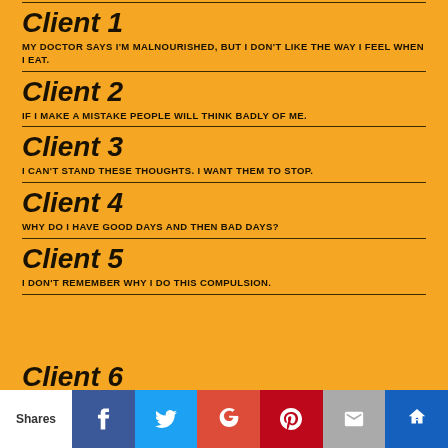Client 1
MY DOCTOR SAYS I'M MALNOURISHED, BUT I DON'T LIKE THE WAY I FEEL WHEN I EAT.
Client 2
IF I MAKE A MISTAKE PEOPLE WILL THINK BADLY OF ME.
Client 3
I CAN'T STAND THESE THOUGHTS. I WANT THEM TO STOP.
Client 4
WHY DO I HAVE GOOD DAYS AND THEN BAD DAYS?
Client 5
I DON'T REMEMBER WHY I DO THIS COMPULSION.
Client 6